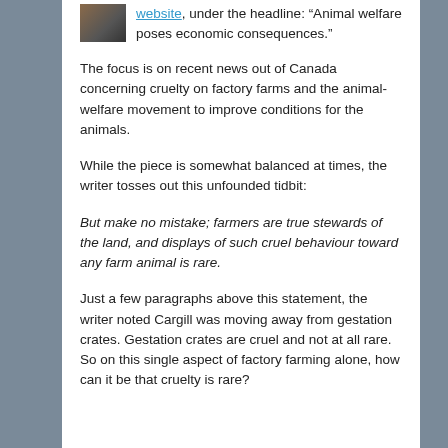website, under the headline: “Animal welfare poses economic consequences.”
The focus is on recent news out of Canada concerning cruelty on factory farms and the animal-welfare movement to improve conditions for the animals.
While the piece is somewhat balanced at times, the writer tosses out this unfounded tidbit:
But make no mistake; farmers are true stewards of the land, and displays of such cruel behaviour toward any farm animal is rare.
Just a few paragraphs above this statement, the writer noted Cargill was moving away from gestation crates. Gestation crates are cruel and not at all rare. So on this single aspect of factory farming alone, how can it be that cruelty is rare?